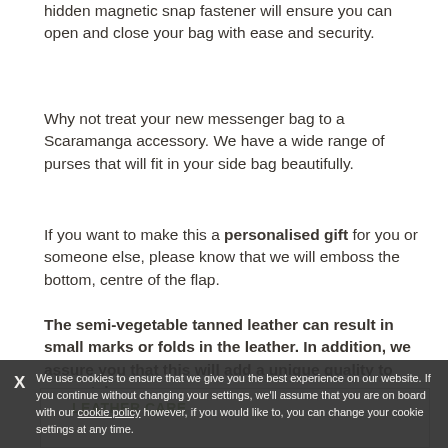hidden magnetic snap fastener will ensure you can open and close your bag with ease and security.
Why not treat your new messenger bag to a Scaramanga accessory. We have a wide range of purses that will fit in your side bag beautifully.
If you want to make this a personalised gift for you or someone else, please know that we will emboss the bottom, centre of the flap.
The semi-vegetable tanned leather can result in small marks or folds in the leather. In addition, we assure you that this will add a unique quality to your style.
Please note, our Small Messenger Bag now comes with Brass hardware, not silver as pictured.
LEATHER CARE
We use cookies to ensure that we give you the best experience on our website. If you continue without changing your settings, we'll assume that you are on board with our cookie policy however, if you would like to, you can change your cookie settings at any time.